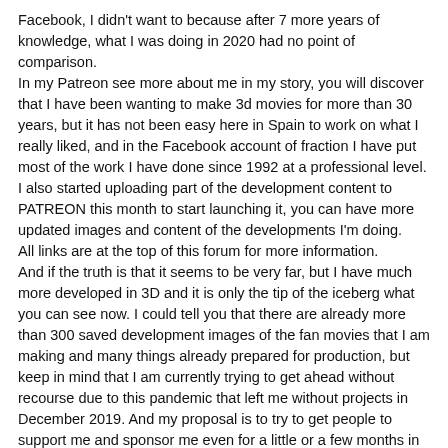Facebook, I didn't want to because after 7 more years of knowledge, what I was doing in 2020 had no point of comparison.
In my Patreon see more about me in my story, you will discover that I have been wanting to make 3d movies for more than 30 years, but it has not been easy here in Spain to work on what I really liked, and in the Facebook account of fraction I have put most of the work I have done since 1992 at a professional level.
I also started uploading part of the development content to PATREON this month to start launching it, you can have more updated images and content of the developments I'm doing.
All links are at the top of this forum for more information.
And if the truth is that it seems to be very far, but I have much more developed in 3D and it is only the tip of the iceberg what you can see now. I could tell you that there are already more than 300 saved development images of the fan movies that I am making and many things already prepared for production, but keep in mind that I am currently trying to get ahead without recourse due to this pandemic that left me without projects in December 2019. And my proposal is to try to get people to support me and sponsor me even for a little or a few months in PATREON so that I can have more resources and even speed up all this.
I am very good at my thing and I have been studying 3d in all aspects for almost 30 years. Now I am making this dream come true by myself, but with the ideas clearer every day of what I am doing and if people support me in my PATREON, I will get the renders to come out at a higher quality for the final production, even a more powerful team of which I have to speed up the process even more.
My goal is to do it and I don't expect much, in fact I prepare a new